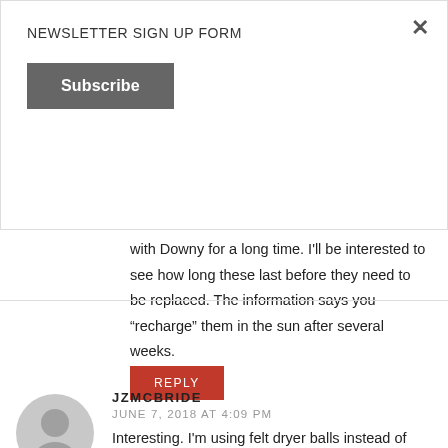NEWSLETTER SIGN UP FORM
Subscribe
down the line and do a test. I was Team Tide with Downy for a long time. I'll be interested to see how long these last before they need to be replaced. The information says you “recharge” them in the sun after several weeks.
REPLY
[Figure (illustration): Grey circular avatar placeholder icon for user JZMCBRIDE]
JZMCBRIDE
JUNE 7, 2018 AT 4:09 PM
Interesting. I’m using felt dryer balls instead of dryer sheets (which I love) but I haven’t heard of